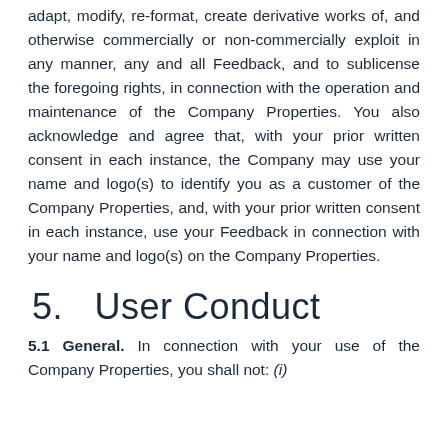adapt, modify, re-format, create derivative works of, and otherwise commercially or non-commercially exploit in any manner, any and all Feedback, and to sublicense the foregoing rights, in connection with the operation and maintenance of the Company Properties. You also acknowledge and agree that, with your prior written consent in each instance, the Company may use your name and logo(s) to identify you as a customer of the Company Properties, and, with your prior written consent in each instance, use your Feedback in connection with your name and logo(s) on the Company Properties.
5.   User Conduct
5.1 General. In connection with your use of the Company Properties, you shall not: (i)